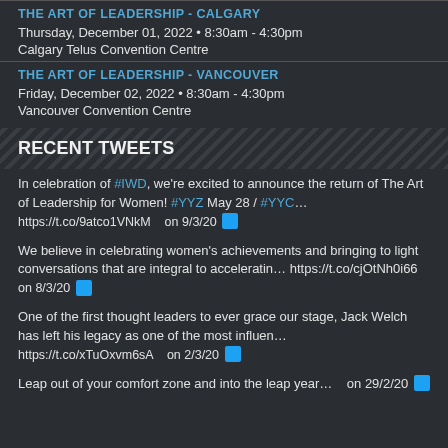THE ART OF LEADERSHIP - CALGARY
Thursday, December 01, 2022 • 8:30am - 4:30pm
Calgary Telus Convention Centre
THE ART OF LEADERSHIP - VANCOUVER
Friday, December 02, 2022 • 8:30am - 4:30pm
Vancouver Convention Centre
RECENT TWEETS
In celebration of #IWD, we're excited to announce the return of The Art of Leadership for Women! #YYZ May 28 / #YYC… https://t.co/9atco1VNkM on 9/3/20
We believe in celebrating women's achievements and bringing to light conversations that are integral to acceleratin… https://t.co/cjOtNh0i66 on 8/3/20
One of the first thought leaders to ever grace our stage, Jack Welch has left his legacy as one of the most influen… https://t.co/xTuOxvm6sA on 2/3/20
Leap out of your comfort zone and into the leap year on 29/2/20